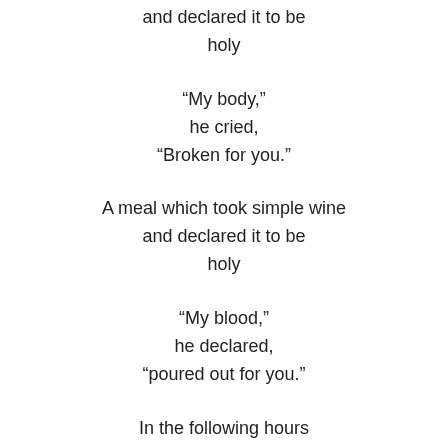and declared it to be
holy
“My body,”
he cried,
“Broken for you.”
A meal which took simple wine
and declared it to be
holy
“My blood,”
he declared,
“poured out for you.”
In the following hours
as their bodies still digested that meal
of bread and of wine